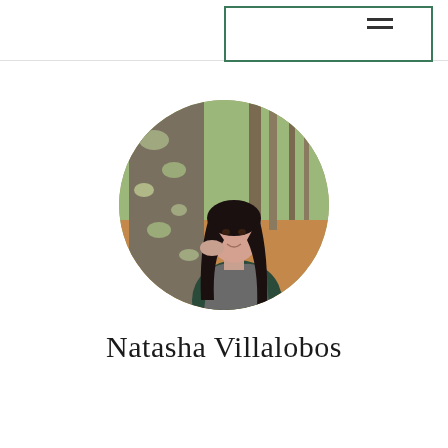[Figure (other): Navigation bar with green-bordered rectangle and hamburger menu icon in the top right corner]
[Figure (photo): Circular profile photo of a young woman with long dark hair, leaning against a tree in an autumn forest setting, wearing a dark turtleneck and grey vest]
Natasha Villalobos